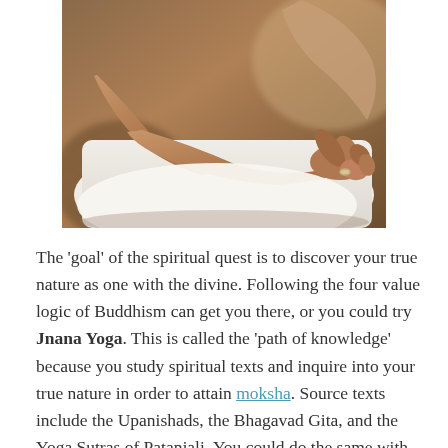[Figure (photo): Close-up photograph of a person sitting in a meditation pose, wearing white clothing, fingers held in a mudra gesture with a ring on one finger. Warm brown blurred background.]
The 'goal' of the spiritual quest is to discover your true nature as one with the divine. Following the four value logic of Buddhism can get you there, or you could try Jnana Yoga. This is called the 'path of knowledge' because you study spiritual texts and inquire into your true nature in order to attain moksha. Source texts include the Upanishads, the Bhagavad Gita, and the Yoga Sutras of Patanjali. You could do the same with other religious